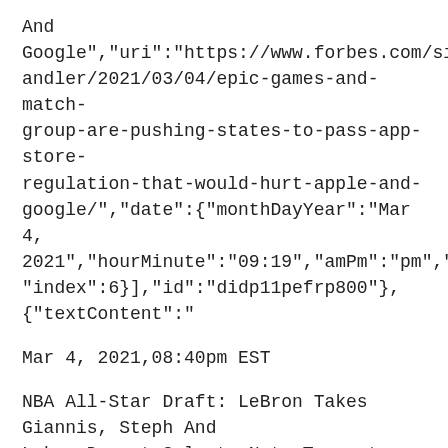And Google","uri":"https://www.forbes.com/sites/rachelsandler/2021/03/04/epic-games-and-match-group-are-pushing-states-to-pass-app-store-regulation-that-would-hurt-apple-and-google/","date":{"monthDayYear":"Mar 4, 2021","hourMinute":"09:19","amPm":"pm","isEDT":false},"index":6}],"id":"didp11pefrp800"},{"textContent":"
Mar 4, 2021,08:40pm EST
NBA All-Star Draft: LeBron Takes Giannis, Steph And Luka; Durant Selects Nets Teammates Irving, Harden","scope":{"topStory":{"title":"NBA All-Star Draft: LeBron Takes Giannis, Steph And Luka; Durant Selects Nets Teammates Irving, Harden","uri":"https://www.forbes.com/sites/adamz